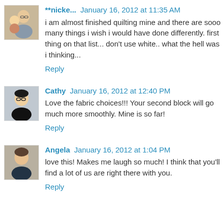[Figure (photo): Avatar photo of user nicke, showing a person holding a baby/child]
**nicke... January 16, 2012 at 11:35 AM
i am almost finished quilting mine and there are sooo many things i wish i would have done differently. first thing on that list... don't use white.. what the hell was i thinking...
Reply
[Figure (photo): Avatar photo of Cathy, a woman with glasses]
Cathy January 16, 2012 at 12:40 PM
Love the fabric choices!!! Your second block will go much more smoothly. Mine is so far!
Reply
[Figure (photo): Avatar photo of Angela, a woman]
Angela January 16, 2012 at 1:04 PM
love this! Makes me laugh so much! I think that you'll find a lot of us are right there with you.
Reply